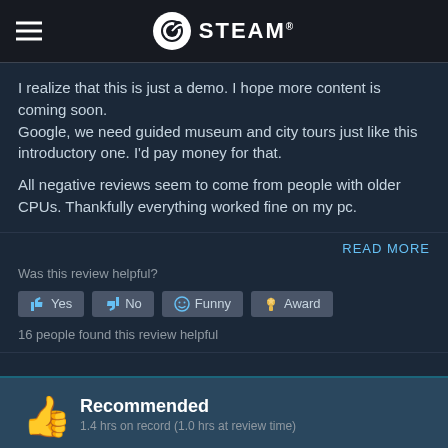STEAM
I realize that this is just a demo. I hope more content is coming soon.
Google, we need guided museum and city tours just like this introductory one. I'd pay money for that.

All negative reviews seem to come from people with older CPUs. Thankfully everything worked fine on my pc.
READ MORE
Was this review helpful?
Yes  No  Funny  Award
16 people found this review helpful
Recommended
1.4 hrs on record (1.0 hrs at review time)